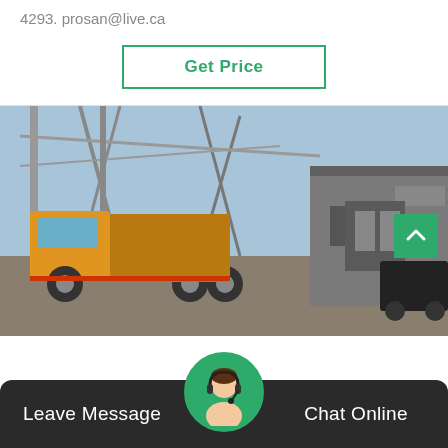4293. prosan@live.ca
Get Price
[Figure (photo): Industrial facility photo showing a yellow truck in front of a plant with large overhead cranes/structures and a multi-story building, outdoor setting with blue sky]
Leave Message
Chat Online